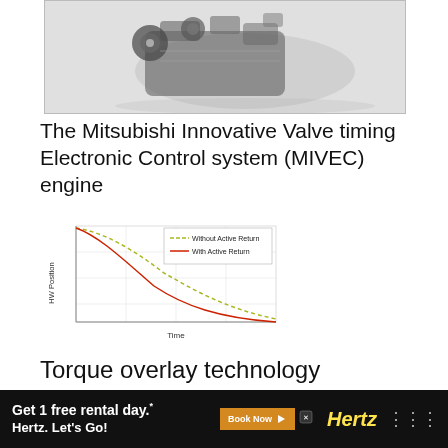[Figure (photo): Photograph of a Mitsubishi MIVEC engine, showing the engine block with pulleys and accessories on a white background.]
The Mitsubishi Innovative Valve timing Electronic Control system (MIVEC) engine
[Figure (line-chart): Line chart showing HW Position over Time, comparing two curves: dashed line labeled 'Without Active Return' and red solid line labeled 'With Active Return'. Both curves decay from top-left to bottom-right, with the red 'With Active Return' curve declining faster.]
Torque overlay technology
[Figure (engineering-diagram): Partial engineering diagram of rear differential component with label arrow pointing to 'Rear differential'.]
Get 1 free rental day.* Hertz. Let's Go! Book Now Hertz